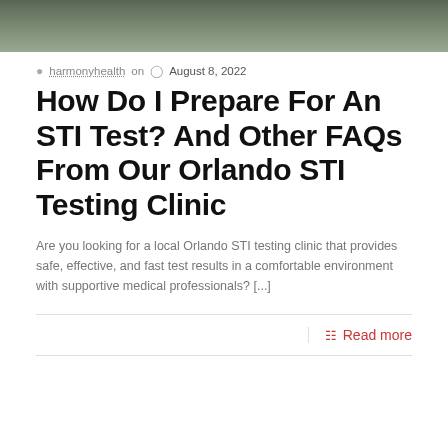[Figure (photo): Cropped photo of a person outdoors, top portion visible, dark jacket, blurred background]
harmonyhealth on  August 8, 2022
How Do I Prepare For An STI Test? And Other FAQs From Our Orlando STI Testing Clinic
Are you looking for a local Orlando STI testing clinic that provides safe, effective, and fast test results in a comfortable environment with supportive medical professionals? [...]
Read more